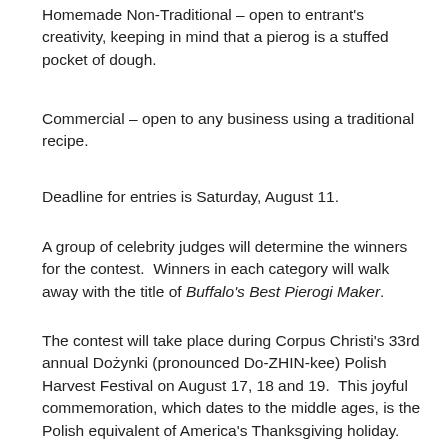Homemade Non-Traditional – open to entrant's creativity, keeping in mind that a pierog is a stuffed pocket of dough.
Commercial – open to any business using a traditional recipe.
Deadline for entries is Saturday, August 11.
A group of celebrity judges will determine the winners for the contest.  Winners in each category will walk away with the title of Buffalo's Best Pierogi Maker.
The contest will take place during Corpus Christi's 33rd annual Dożynki (pronounced Do-ZHIN-kee) Polish Harvest Festival on August 17, 18 and 19.  This joyful commemoration, which dates to the middle ages, is the Polish equivalent of America's Thanksgiving holiday.